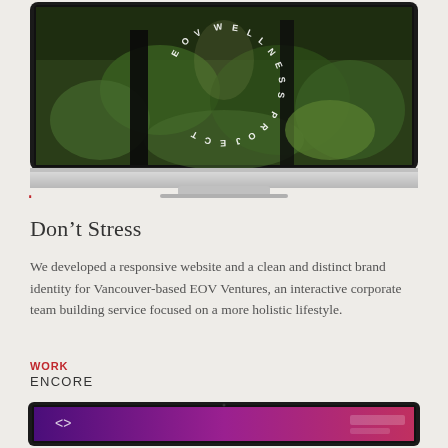[Figure (screenshot): iMac desktop mockup showing a forest/nature website with circular text reading 'EOV WELLNESS PROJECT' on a dark nature background image]
Don't Stress
We developed a responsive website and a clean and distinct brand identity for Vancouver-based EOV Ventures, an interactive corporate team building service focused on a more holistic lifestyle.
WORK
ENCORE
[Figure (screenshot): Laptop mockup showing a purple/magenta gradient website interface, partially visible at the bottom of the page]